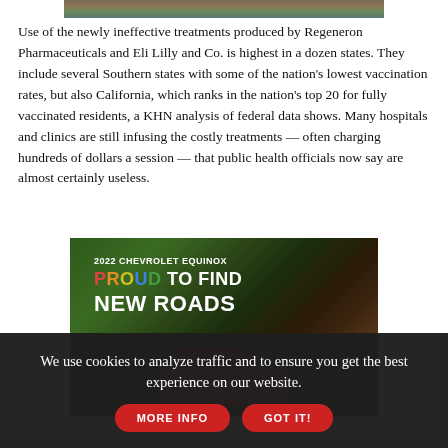[Figure (photo): Partial top of an outdoor/nature photo showing trees and figures, cropped at top of page]
Use of the newly ineffective treatments produced by Regeneron Pharmaceuticals and Eli Lilly and Co. is highest in a dozen states. They include several Southern states with some of the nation's lowest vaccination rates, but also California, which ranks in the nation's top 20 for fully vaccinated residents, a KHN analysis of federal data shows. Many hospitals and clinics are still infusing the costly treatments — often charging hundreds of dollars a session — that public health officials now say are almost certainly useless.
[Figure (photo): 2022 Chevrolet Equinox advertisement. Text reads '2022 CHEVROLET EQUINOX' and 'PROUD TO FIND NEW ROADS' with a red SUV parked in front of a stone house surrounded by trees. The word PROUD is rendered in rainbow/multicolored letters.]
We use cookies to analyze traffic and to ensure you get the best experience on our website. MORE INFO GOT IT!